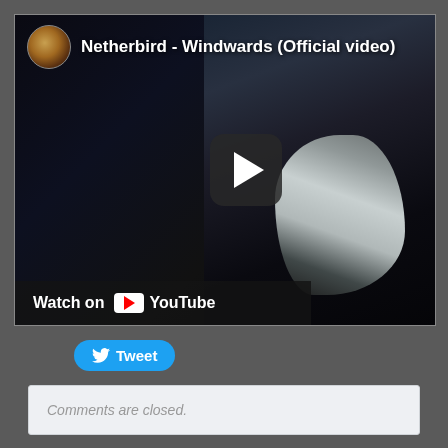[Figure (screenshot): YouTube video embed thumbnail for 'Netherbird - Windwards (Official video)'. Dark, moody scene showing a cloaked figure. Shows channel icon, video title, play button in center, and 'Watch on YouTube' bar at the bottom.]
Tweet
Comments are closed.